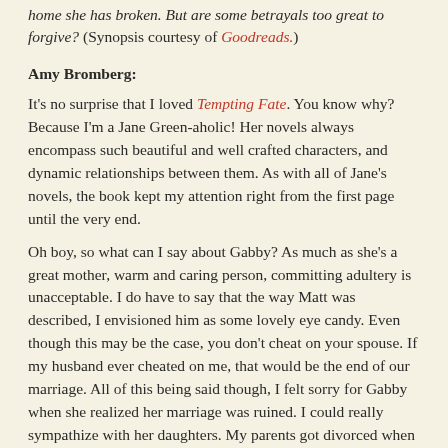home she has broken. But are some betrayals too great to forgive? (Synopsis courtesy of Goodreads.)
Amy Bromberg:
It's no surprise that I loved Tempting Fate. You know why? Because I'm a Jane Green-aholic! Her novels always encompass such beautiful and well crafted characters, and dynamic relationships between them. As with all of Jane's novels, the book kept my attention right from the first page until the very end.
Oh boy, so what can I say about Gabby? As much as she's a great mother, warm and caring person, committing adultery is unacceptable. I do have to say that the way Matt was described, I envisioned him as some lovely eye candy. Even though this may be the case, you don't cheat on your spouse. If my husband ever cheated on me, that would be the end of our marriage. All of this being said though, I felt sorry for Gabby when she realized her marriage was ruined. I could really sympathize with her daughters. My parents got divorced when I was nine, and let me tell you, going indirectly through a divorce is horrible.